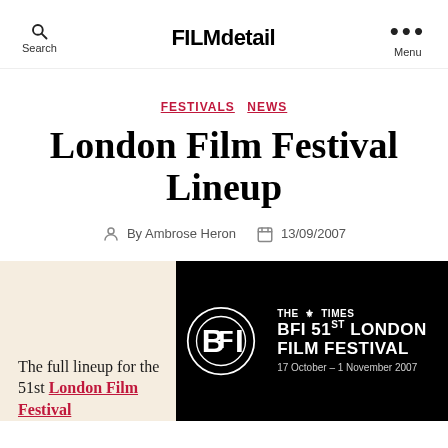FILMdetail
FESTIVALS  NEWS
London Film Festival Lineup
By Ambrose Heron  13/09/2007
The full lineup for the 51st London Film Festival
[Figure (logo): THE TIMES BFI 51ST LONDON FILM FESTIVAL logo on black background, 17 October – 1 November 2007]